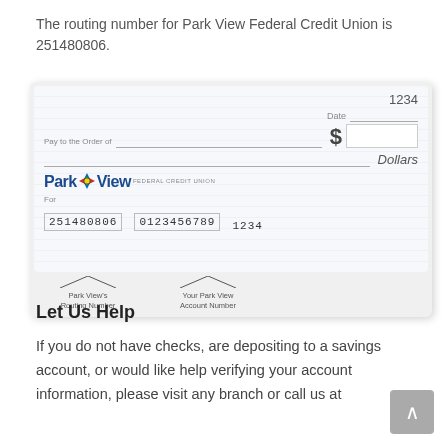The routing number for Park View Federal Credit Union is 251480806.
[Figure (illustration): Sample check image showing Park View Federal Credit Union check with routing number 251480806 at bottom left, account number 0123456789, check number 1234, Pay to the Order of line, dollar amount box, date line, and Dollars line. Below the check are annotations labeling Park View's Routing Number and Your Park View Account Number.]
Let Us Help
If you do not have checks, are depositing to a savings account, or would like help verifying your account information, please visit any branch or call us at